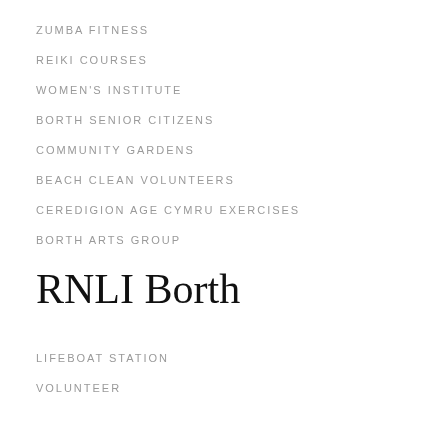ZUMBA FITNESS
REIKI COURSES
WOMEN'S INSTITUTE
BORTH SENIOR CITIZENS
COMMUNITY GARDENS
BEACH CLEAN VOLUNTEERS
CEREDIGION AGE CYMRU EXERCISES
BORTH ARTS GROUP
RNLI Borth
LIFEBOAT STATION
VOLUNTEER